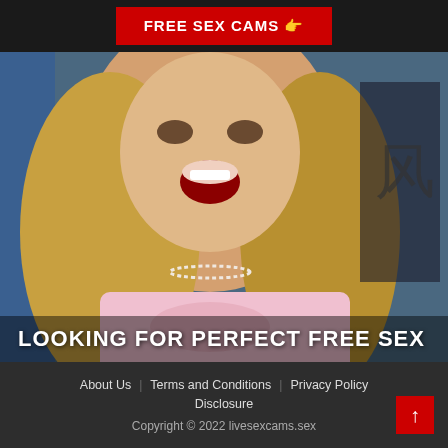[Figure (other): Red button banner with text FREE SEX CAMS and pointing finger emoji on dark background]
[Figure (photo): Young blonde woman with open mouth wearing pink t-shirt, blue/purple lighting background with Chinese characters visible]
LOOKING FOR PERFECT FREE SEX
About Us   Terms and Conditions   Privacy Policy   Disclosure   Copyright © 2022 livesexcams.sex